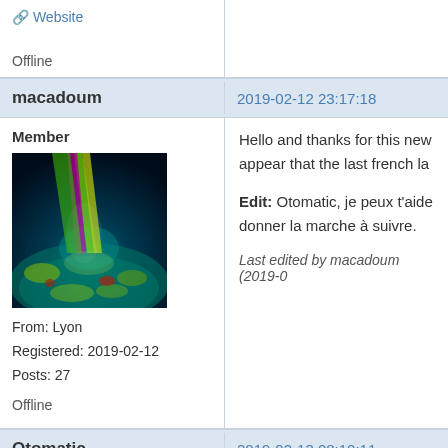Website
Offline
macadoum
2019-02-12 23:17:18
Member
[Figure (photo): Avatar image showing colorful laser beams (green, yellow, pink) emanating onto a glowing teal/green alien surface with organic shapes, dark background]
From: Lyon
Registered: 2019-02-12
Posts: 27
Offline
Hello and thanks for this new appear that the last french la...
Edit: Otomatic, je peux t'aide donner la marche à suivre.
Last edited by macadoum (2019-0...
Otomatic
2019-02-13 08:10:11
FluxBB Donor
Hi,/Bonjour,